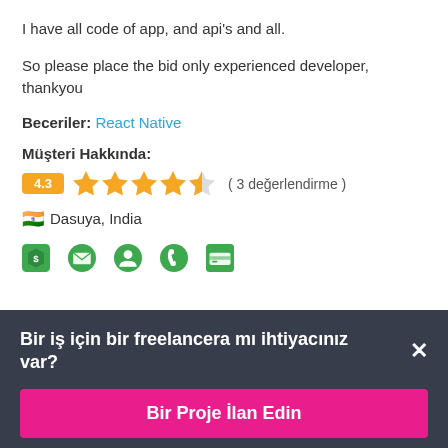I have all code of app, and api's and all.
So please place the bid only experienced developer, thankyou
Beceriler: React Native
Müşteri Hakkında:
4.3 ★★★★½ ( 3 değerlendirme )
🇮🇳 Dasuya, India
[Figure (infographic): Row of 5 green icons: payment/dollar shield, envelope, person, phone, credit card]
Bir iş için bir freelancera mı ihtiyacınız var? ×
Bir Proje İlan Edin